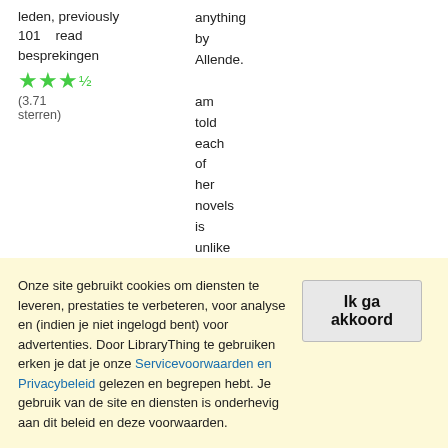leden, previously 101 read besprekingen ★★★½ (3.71 sterren)
anything by Allende. am told each of her novels is unlike the last. It t...
Onze site gebruikt cookies om diensten te leveren, prestaties te verbeteren, voor analyse en (indien je niet ingelogd bent) voor advertenties. Door LibraryThing te gebruiken erken je dat je onze Servicevoorwaarden en Privacybeleid gelezen en begrepen hebt. Je gebruik van de site en diensten is onderhevig aan dit beleid en deze voorwaarden.
Ik ga akkoord